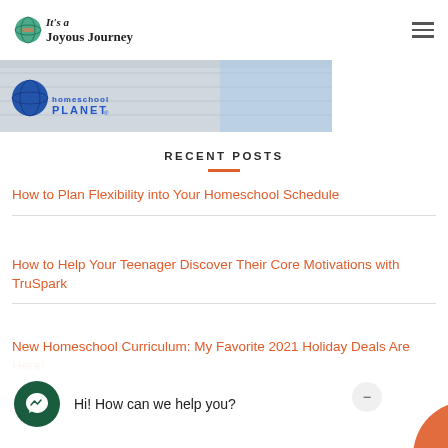It's a Joyous Journey
[Figure (photo): Homeschool Planet banner image with logo]
RECENT POSTS
How to Plan Flexibility into Your Homeschool Schedule
How to Help Your Teenager Discover Their Core Motivations with TruSpark
New Homeschool Curriculum: My Favorite 2021 Holiday Deals Are Here!
Hi! How can we help you?